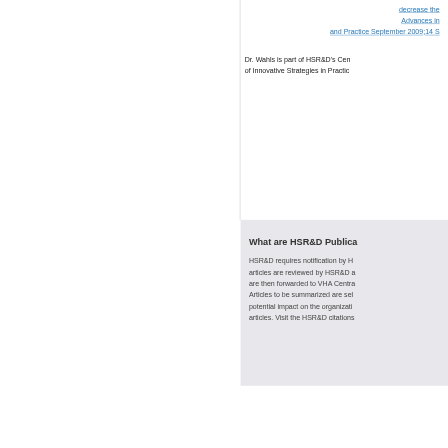decrease the
Advances in
and Practice September 2009;14 S
Dr. Wahls is part of HSR&D's Cen of Innovative Strategies in Practic
What are HSR&D Publica
HSR&D requires notification by H articles are reviewed by HSR&D a are then forwarded to VHA Centra Articles to be summarized are sel potential impact on the organizati articles. Visit the HSR&D citations